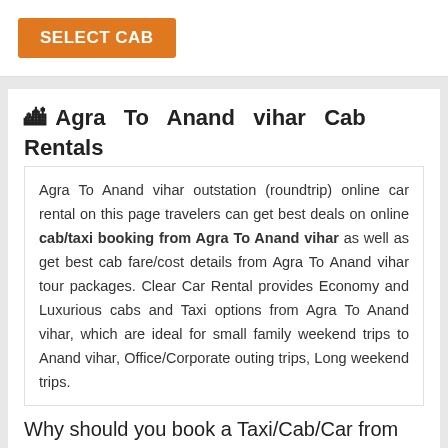[Figure (other): Orange SELECT CAB button]
🏙 Agra To Anand vihar Cab Rentals
Agra To Anand vihar outstation (roundtrip) online car rental on this page travelers can get best deals on online cab/taxi booking from Agra To Anand vihar as well as get best cab fare/cost details from Agra To Anand vihar tour packages. Clear Car Rental provides Economy and Luxurious cabs and Taxi options from Agra To Anand vihar, which are ideal for small family weekend trips to Anand vihar, Office/Corporate outing trips, Long weekend trips.
Why should you book a Taxi/Cab/Car from Agra To Anand vihar with Clear Car Rental ?